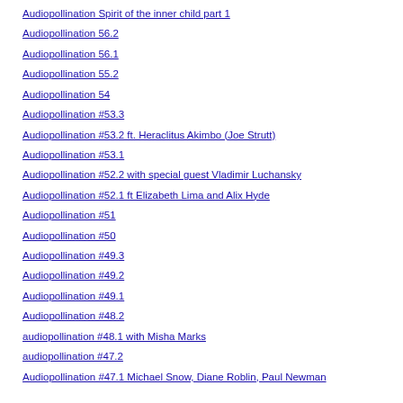Audiopollination Spirit of the inner child part 1
Audiopollination 56.2
Audiopollination 56.1
Audiopollination 55.2
Audiopollination 54
Audiopollination #53.3
Audiopollination #53.2 ft. Heraclitus Akimbo (Joe Strutt)
Audiopollination #53.1
Audiopollination #52.2 with special guest Vladimir Luchansky
Audiopollination #52.1 ft Elizabeth Lima and Alix Hyde
Audiopollination #51
Audiopollination #50
Audiopollination #49.3
Audiopollination #49.2
Audiopollination #49.1
Audiopollination #48.2
audiopollination #48.1 with Misha Marks
audiopollination #47.2
Audiopollination #47.1 Michael Snow, Diane Roblin, Paul Newman